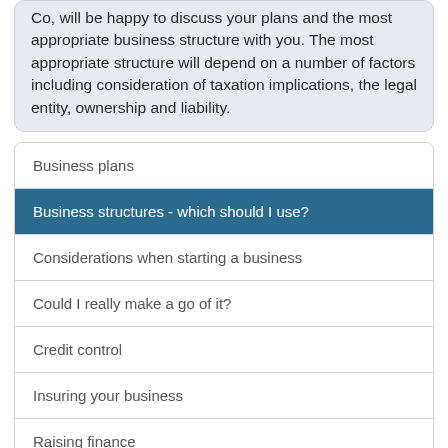Co, will be happy to discuss your plans and the most appropriate business structure with you. The most appropriate structure will depend on a number of factors including consideration of taxation implications, the legal entity, ownership and liability.
Business plans
Business structures - which should I use?
Considerations when starting a business
Could I really make a go of it?
Credit control
Insuring your business
Raising finance